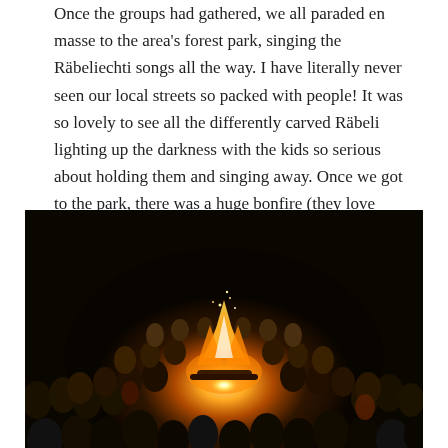Once the groups had gathered, we all paraded en masse to the area's forest park, singing the Räbeliechti songs all the way. I have literally never seen our local streets so packed with people! It was so lovely to see all the differently carved Räbeli lighting up the darkness with the kids so serious about holding them and singing away. Once we got to the park, there was a huge bonfire (they love making fires outdoors in Switzerland, big time). Everybody gathered around and sang the songs again (there were 3 or 4 official ones).
[Figure (photo): A nighttime outdoor photo showing a large crowd of people gathered in a circle around a bright bonfire in a dark forest park. The fire illuminates the faces of the surrounding crowd.]